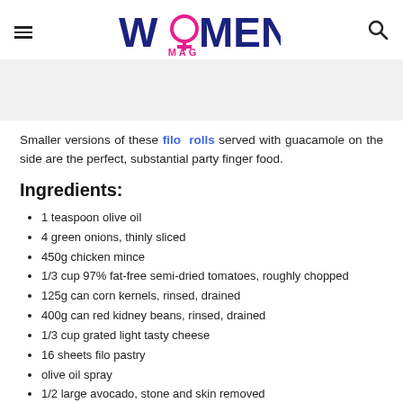WOMENZ MAG
[Figure (other): Light gray image placeholder banner]
Smaller versions of these filo rolls served with guacamole on the side are the perfect, substantial party finger food.
Ingredients:
1 teaspoon olive oil
4 green onions, thinly sliced
450g chicken mince
1/3 cup 97% fat-free semi-dried tomatoes, roughly chopped
125g can corn kernels, rinsed, drained
400g can red kidney beans, rinsed, drained
1/3 cup grated light tasty cheese
16 sheets filo pastry
olive oil spray
1/2 large avocado, stone and skin removed